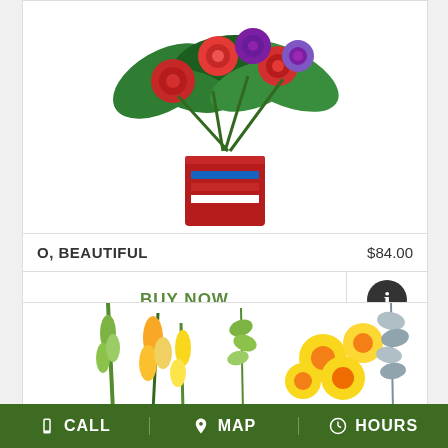[Figure (photo): Flower arrangement in a red cube vase with red roses, purple flowers, and green leaves, with a red-white-blue ribbon. Cropped at top.]
O, BEAUTIFUL    $84.00
BUY NOW
[Figure (photo): Flower arrangement with yellow daisies, snapdragons, eucalyptus, and greenery on white background. Cropped.]
CALL  MAP  HOURS